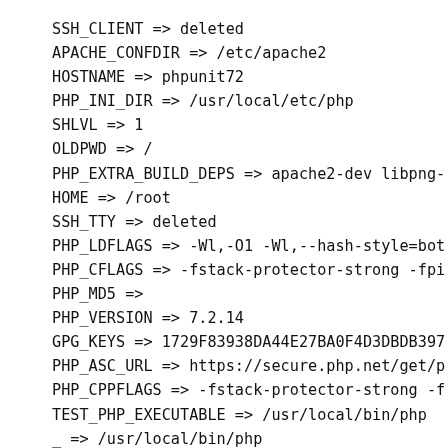SSH_CLIENT => deleted
APACHE_CONFDIR => /etc/apache2
HOSTNAME => phpunit72
PHP_INI_DIR => /usr/local/etc/php
SHLVL => 1
OLDPWD => /
PHP_EXTRA_BUILD_DEPS => apache2-dev libpng-
HOME => /root
SSH_TTY => deleted
PHP_LDFLAGS => -Wl,-O1 -Wl,--hash-style=bot
PHP_CFLAGS => -fstack-protector-strong -fpi
PHP_MD5 =>
PHP_VERSION => 7.2.14
GPG_KEYS => 1729F83938DA44E27BA0F4D3DBDB397
PHP_ASC_URL => https://secure.php.net/get/p
PHP_CPPFLAGS => -fstack-protector-strong -f
TEST_PHP_EXECUTABLE => /usr/local/bin/php
_ => /usr/local/bin/php
TEST_DATE => 20210712-230013